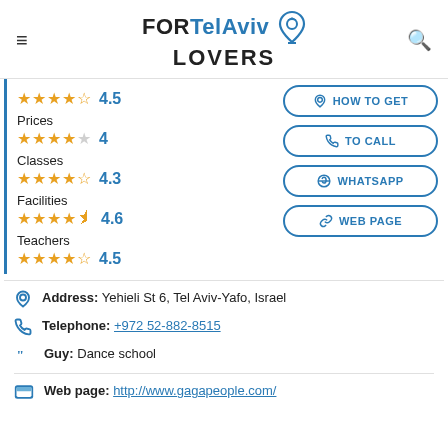FOR Tel Aviv LOVERS
4.5 (stars)
Prices 4
Classes 4.3
Facilities 4.6
Teachers 4.5
Address: Yehieli St 6, Tel Aviv-Yafo, Israel
Telephone: +972 52-882-8515
Guy: Dance school
Web page: http://www.gagapeople.com/